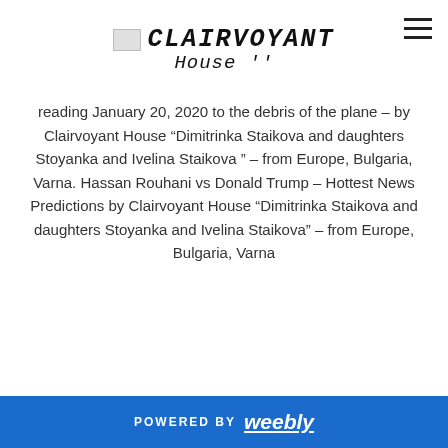CLAIRVOYANT HOUSE
reading January 20, 2020 to the debris of the plane – by Clairvoyant House "Dimitrinka Staikova and daughters Stoyanka and Ivelina Staikova " – from Europe, Bulgaria, Varna. Hassan Rouhani vs Donald Trump – Hottest News Predictions by Clairvoyant House "Dimitrinka Staikova and daughters Stoyanka and Ivelina Staikova" – from Europe, Bulgaria, Varna
[Figure (other): Five star rating icons (empty/outline stars)]
Related Posts and Media Confirmations :
3 MEDIA CONFIRMATIONS of
POWERED BY weebly